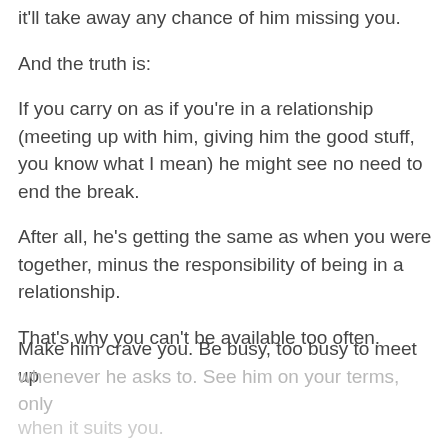it'll take away any chance of him missing you.
And the truth is:
If you carry on as if you're in a relationship (meeting up with him, giving him the good stuff, you know what I mean) he might see no need to end the break.
After all, he's getting the same as when you were together, minus the responsibility of being in a relationship.
That's why you can't be available too often.
Make him crave you. Be busy, too busy to meet up whenever he asks to. See him on your terms, only when it suits you.